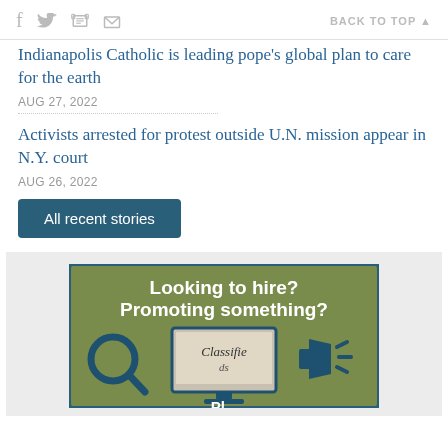Social icons: f, Twitter bird, print, email | BACK TO TOP ▲
Indianapolis Catholic is leading pope's global plan to care for the earth
AUG 27, 2022
Activists arrested for protest outside U.N. mission appear in N.Y. court
AUG 26, 2022
All recent stories
[Figure (illustration): Advertisement banner with olive/green background showing 'Looking to hire? Promoting something?' text with a magnifying glass icon, a monitor displaying 'Classifieds', and a megaphone icon.]